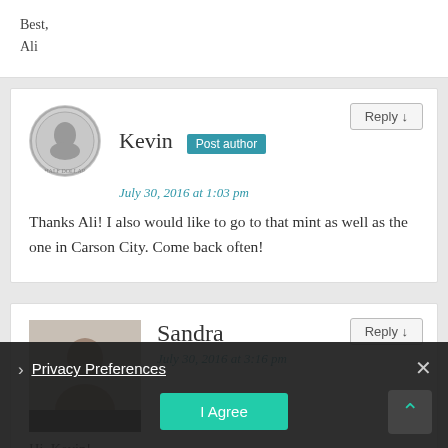Best,
Ali
Kevin  Post author
July 30, 2016 at 1:03 pm
Thanks Ali! I also would like to go to that mint as well as the one in Carson City. Come back often!
Sandra
July 30, 2016 at 3:16 pm
Hi, Kevin!
I have never been in USA and have never visited San Francisco mint or ...read your post. I would really love to visit... one day! Your post is great-it is very informative Interesting- person can learn a lot from it! I urge ...
Privacy Preferences
I Agree